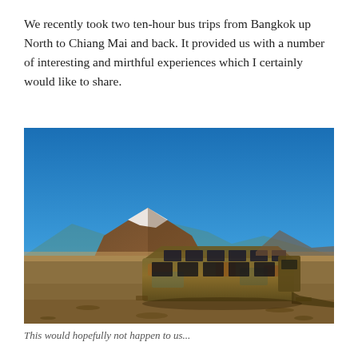We recently took two ten-hour bus trips from Bangkok up North to Chiang Mai and back. It provided us with a number of interesting and mirthful experiences which I certainly would like to share.
[Figure (photo): A rusted, abandoned bus wreck sitting in a barren desert landscape with rocky ground and a mountain with snow cap visible in the background under a deep blue sky.]
This would hopefully not happen to us...